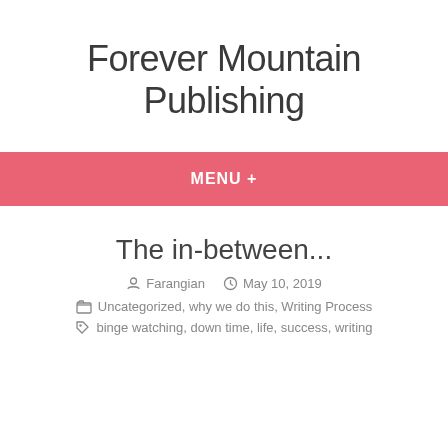Forever Mountain Publishing
MENU +
The in-between...
Farangian   May 10, 2019
Uncategorized, why we do this, Writing Process
binge watching, down time, life, success, writing